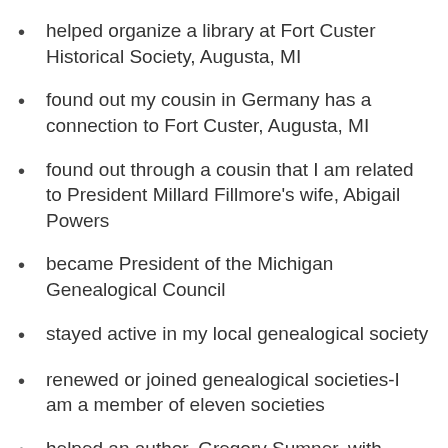helped organize a library at Fort Custer Historical Society, Augusta, MI
found out my cousin in Germany has a connection to Fort Custer, Augusta, MI
found out through a cousin that I am related to President Millard Fillmore's wife, Abigail Powers
became President of the Michigan Genealogical Council
stayed active in my local genealogical society
renewed or joined genealogical societies-I am a member of eleven societies
helped an author, Gregory Sumner, with resources for a Michigan POW Camps in World War II
began presenting at local genealogical societies
lost two cousins, an aunt, an uncle, and my father over the past 15 months